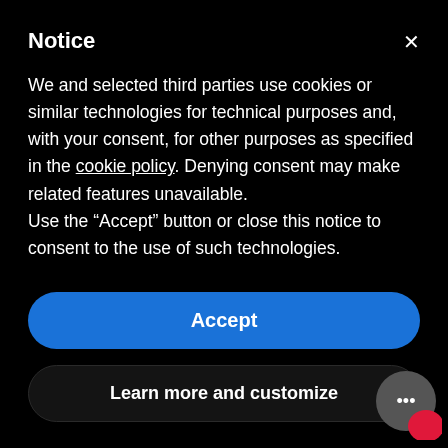Notice
We and selected third parties use cookies or similar technologies for technical purposes and, with your consent, for other purposes as specified in the cookie policy. Denying consent may make related features unavailable.
Use the “Accept” button or close this notice to consent to the use of such technologies.
Accept
Learn more and customize
Tags —
cash
cash is king
friends
gratitude